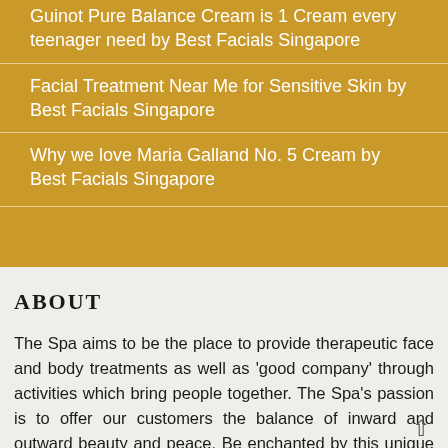Guinot Pure Balance Cream is 1 Cream every teenager need by Best Facials Singapore
Facial Treatment Near Me for Sensitive Skin by Best Facials Singapore
Why we love Maria Galland No. 5 Cream by Best Facials Singapore
ABOUT
The Spa aims to be the place to provide therapeutic face and body treatments as well as 'good company' through activities which bring people together. The Spa's passion is to offer our customers the balance of inward and outward beauty and peace. Be enchanted by this unique experience leaving you with the 'Angel's Glow'. Give yourself this mini break. You deserve it! This is our passion. This is our dream.